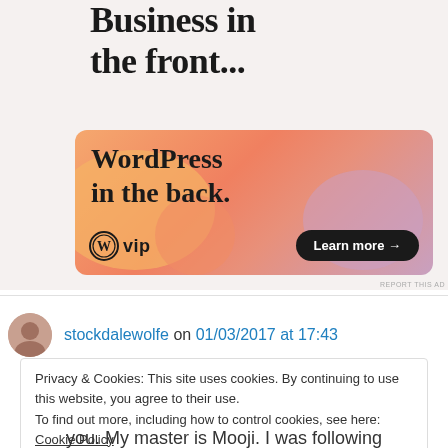[Figure (infographic): WordPress VIP advertisement banner. Top text reads 'Business in the front...' and banner shows 'WordPress in the back.' with WP VIP logo and 'Learn more →' button on colorful gradient background with blob shapes.]
stockdalewolfe on 01/03/2017 at 17:43
Privacy & Cookies: This site uses cookies. By continuing to use this website, you agree to their use.
To find out more, including how to control cookies, see here: Cookie Policy
you. My master is Mooji. I was following